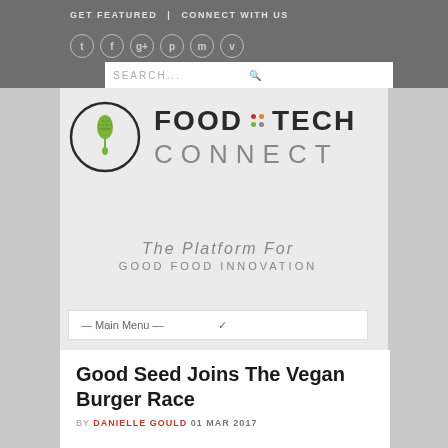GET FEATURED | CONNECT WITH US
[Figure (logo): Food Tech Connect logo with wheat/fork icon in circle and colorful dot grid between FOOD and TECH, tagline: The Platform For GOOD FOOD INNOVATION]
— Main Menu —
Good Seed Joins The Vegan Burger Race
BY DANIELLE GOULD  01 MAR 2017